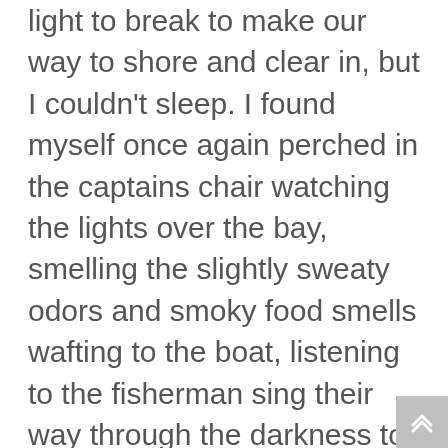light to break to make our way to shore and clear in, but I couldn't sleep. I found myself once again perched in the captains chair watching the lights over the bay, smelling the slightly sweaty odors and smoky food smells wafting to the boat, listening to the fisherman sing their way through the darkness to the deep water fish traps.  I was enveloped in the warmth of knowing that only 200 yards from me were Bichara, Evenson, Meyomen, and my little man Cheeks.